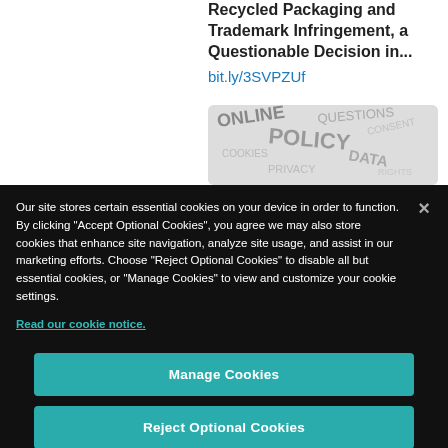Recycled Packaging and Trademark Infringement, a Questionable Decision in...
bit.ly/3SVPZUf
[Figure (illustration): Word cloud / text collage image partially visible behind cookie banner]
Our site stores certain essential cookies on your device in order to function. By clicking “Accept Optional Cookies”, you agree we may also store cookies that enhance site navigation, analyze site usage, and assist in our marketing efforts. Choose “Reject Optional Cookies” to disable all but essential cookies, or “Manage Cookies” to view and customize your cookie settings.
Read our cookie notice.
Manage Cookies
Reject Optional Cookies
Accept Optional Cookies